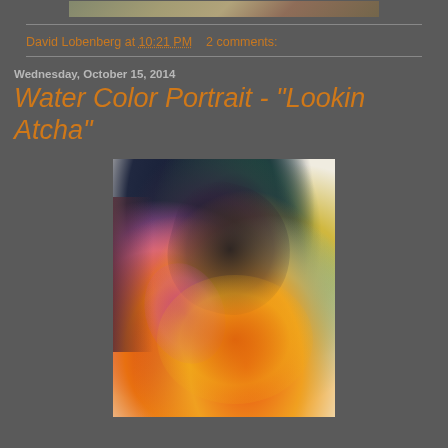[Figure (photo): Top portion of a previous blog post image, partially visible at the top of the page]
David Lobenberg at 10:21 PM    2 comments:
Wednesday, October 15, 2014
Water Color Portrait - "Lookin Atcha"
[Figure (photo): Watercolor portrait painting with vibrant colors including black, purple, blue, teal, orange, red, and yellow, forming an abstract face looking forward]